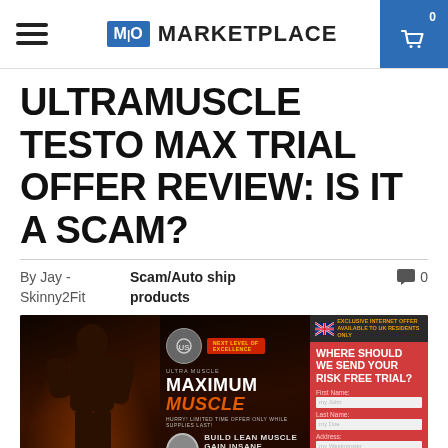M|O MARKETPLACE
ULTRAMUSCLE TESTO MAX TRIAL OFFER REVIEW: IS IT A SCAM?
By Jay - Skinny2Fit   Scam/Auto ship products   0
[Figure (photo): Promotional image for UltraMuscle Testo Max showing a muscular man, product branding with MAXIMUM MUSCLE text, benefits list (Build Lean Muscle, Gain Insane Strength, Boost Endurance), a UK exclusive offer banner, and a risk-free trial signup form asking for First Name, Last Name, and Address.]